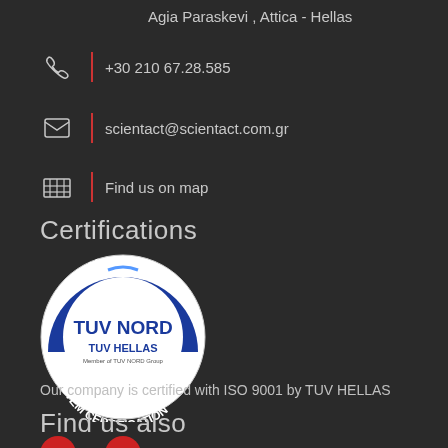Agia Paraskevi , Attica - Hellas
+30 210 67.28.585
scientact@scientact.com.gr
Find us on map
Certifications
[Figure (logo): ISO 9001 TUV NORD / TUV HELLAS System Certification circular badge logo. Blue and white circular seal with 'ISO 9001' at top, 'TUV NORD' in bold blue text, 'TUV HELLAS' below it, and 'SYSTEM CERTIFICATION' along the bottom arc.]
Our company is certified with ISO 9001 by TUV HELLAS
Find us also